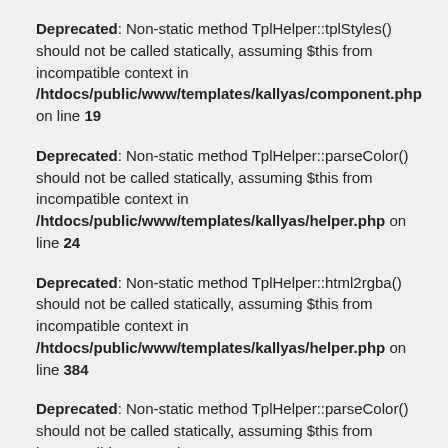Deprecated: Non-static method TplHelper::tplStyles() should not be called statically, assuming $this from incompatible context in /htdocs/public/www/templates/kallyas/component.php on line 19
Deprecated: Non-static method TplHelper::parseColor() should not be called statically, assuming $this from incompatible context in /htdocs/public/www/templates/kallyas/helper.php on line 24
Deprecated: Non-static method TplHelper::html2rgba() should not be called statically, assuming $this from incompatible context in /htdocs/public/www/templates/kallyas/helper.php on line 384
Deprecated: Non-static method TplHelper::parseColor() should not be called statically, assuming $this from incompatible context in /htdocs/public/www/templates/kallyas/helper.php on line 25
Deprecated: Non-static method TplHelper::html2rgba() should not be called statically, assuming $this from incompatible context in /htdocs/public/www/templates/kallyas/helper.php on line 384
Deprecated: Non-static method TplHelper::parseColor() should not be called statically, assuming $this from incompatible context in